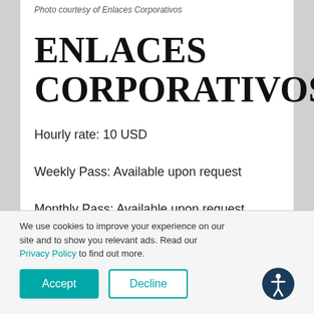Photo courtesy of Enlaces Corporativos
ENLACES CORPORATIVOS
Hourly rate: 10 USD
Weekly Pass: Available upon request
Monthly Pass: Available upon request
We use cookies to improve your experience on our site and to show you relevant ads. Read our Privacy Policy to find out more.
Accept
Decline